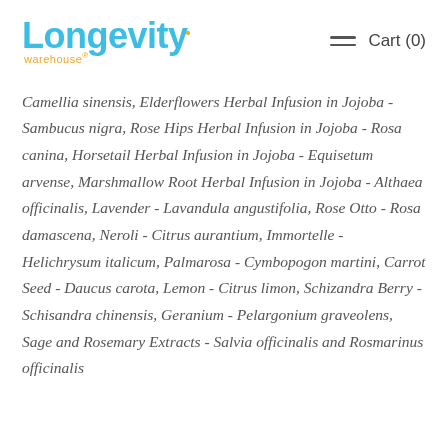Longevity warehouse
Camellia sinensis, Elderflowers Herbal Infusion in Jojoba - Sambucus nigra, Rose Hips Herbal Infusion in Jojoba - Rosa canina, Horsetail Herbal Infusion in Jojoba - Equisetum arvense, Marshmallow Root Herbal Infusion in Jojoba - Althaea officinalis, Lavender - Lavandula angustifolia, Rose Otto - Rosa damascena, Neroli - Citrus aurantium, Immortelle - Helichrysum italicum, Palmarosa - Cymbopogon martini, Carrot Seed - Daucus carota, Lemon - Citrus limon, Schizandra Berry - Schisandra chinensis, Geranium - Pelargonium graveolens, Sage and Rosemary Extracts - Salvia officinalis and Rosmarinus officinalis